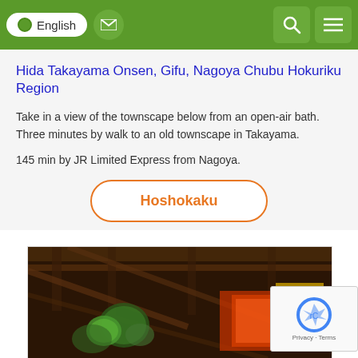English [nav bar with language selector, mail, search, menu icons]
Hida Takayama Onsen, Gifu, Nagoya Chubu Hokuriku Region
Take in a view of the townscape below from an open-air bath. Three minutes by walk to an old townscape in Takayama.
145 min by JR Limited Express from Nagoya.
Hoshokaku
[Figure (photo): Interior photo of a traditional Japanese building with wooden beamed ceiling and stained glass circular windows with colorful illuminated art panels]